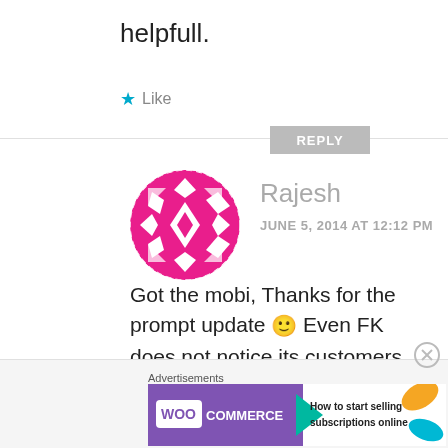helpfull.
★ Like
REPLY
[Figure (illustration): Round avatar with pink/magenta geometric diamond pattern on white background]
Rajesh
JUNE 5, 2014 AT 12:12 PM
Got the mobi, Thanks for the prompt update 🙂 Even FK does not notice its customers... Good Job guys!!!
Advertisements
[Figure (logo): WooCommerce advertisement banner: purple background with WooCommerce logo, teal arrow, orange/teal decorative shapes, text: How to start selling subscriptions online]